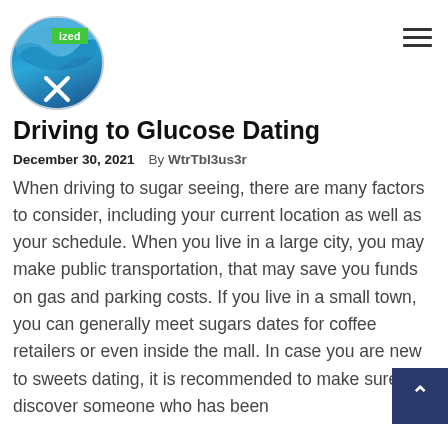[Figure (logo): Circular logo with blue wave/ocean design and white X/cutlery icon, with green badge reading 'categorized']
Driving to Glucose Dating
December 30, 2021   By WtrTbl3us3r
When driving to sugar seeing, there are many factors to consider, including your current location as well as your schedule. When you live in a large city, you may make public transportation, that may save you funds on gas and parking costs. If you live in a small town, you can generally meet sugars dates for coffee retailers or even inside the mall. In case you are new to sweets dating, it is recommended to make sure to discover someone who has been